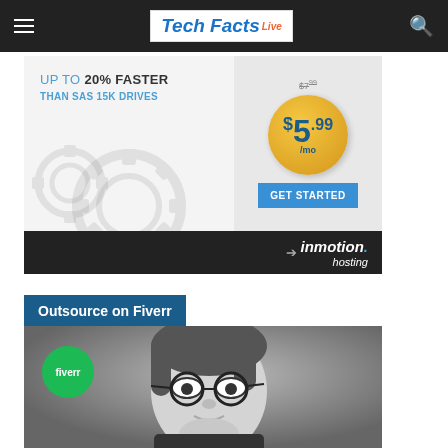Tech Facts Live
[Figure (infographic): InMotion Hosting advertisement banner: 'UP TO 20% FASTER THAN SAS 15K DRIVES', price badge $5.99/mo, GET STARTED button, gear icons, inmotion. hosting logo on dark footer]
Outsource on Fiverr
[Figure (photo): Black and white photo of a man with glasses and medium-length hair, holding his hand to his chin thoughtfully. Fiverr green circle logo overlaid on lower left.]